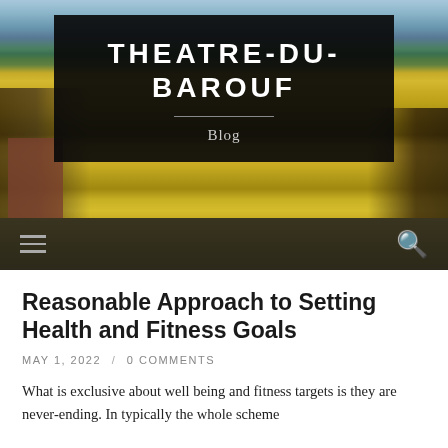[Figure (photo): Outdoor landscape photo showing trees and golden field with sky, used as website header background]
THEATRE-DU-BAROUF
Blog
Navigation bar with hamburger menu and search icon
Reasonable Approach to Setting Health and Fitness Goals
MAY 1, 2022 / 0 COMMENTS
What is exclusive about well being and fitness targets is they are never-ending. In typically the whole scheme